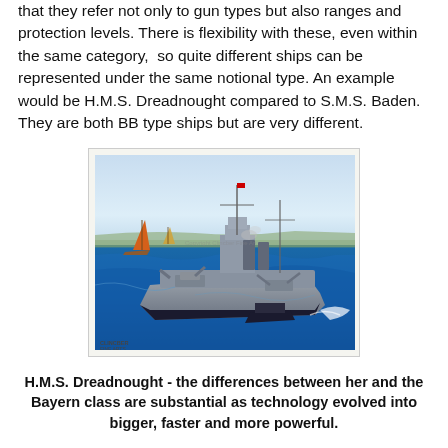These broad categories are the basis of much of the rules in that they refer not only to gun types but also ranges and protection levels. There is flexibility with these, even within the same category, so quite different ships can be represented under the same notional type. An example would be H.M.S. Dreadnought compared to S.M.S. Baden. They are both BB type ships but are very different.
[Figure (photo): A painting of H.M.S. Dreadnought battleship at sea with smaller sailing vessels nearby, blue water, grey warship with masts and turrets visible.]
H.M.S. Dreadnought - the differences between her and the Bayern class are substantial as technology evolved into bigger, faster and more powerful.